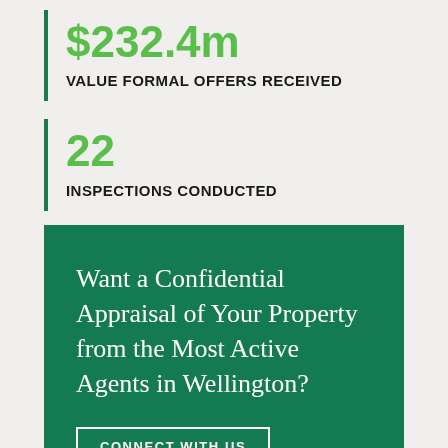$232.4m
VALUE FORMAL OFFERS RECEIVED
22
INSPECTIONS CONDUCTED
Want a Confidential Appraisal of Your Property from the Most Active Agents in Wellington?
CONNECT WITH US
Any Questions?